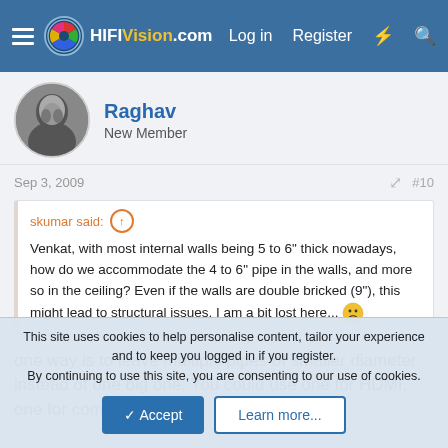HiFiVision.com — Log in  Register
Raghav
New Member
Sep 3, 2009   #10
skumar said: ↑
Venkat, with most internal walls being 5 to 6" thick nowadays, how do we accommodate the 4 to 6" pipe in the walls, and more so in the ceiling? Even if the walls are double bricked (9"), this might lead to structural issues. I am a bit lost here... 😕
one way is to leave multiple pipes of smaller diameter instead of one big one. You could use one for HDMI, one for composite &
This site uses cookies to help personalise content, tailor your experience and to keep you logged in if you register.
By continuing to use this site, you are consenting to our use of cookies.